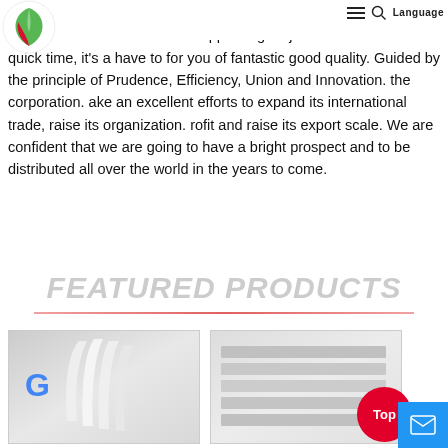Logo | hamburger menu | search | Language
,Amman,They are sturdy modeling and promoting effectively all over the world. Never ever disappearing major functions within a quick time, it's a have to for you of fantastic good quality. Guided by the principle of Prudence, Efficiency, Union and Innovation. the corporation. ake an excellent efforts to expand its international trade, raise its organization. rofit and raise its export scale. We are confident that we are going to have a bright prospect and to be distributed all over the world in the years to come.
FEATURED PRODUCTS
[Figure (photo): Product image left - white plastic items on grey background with blue G letter]
[Figure (photo): Product image right - stacked items on grey background]